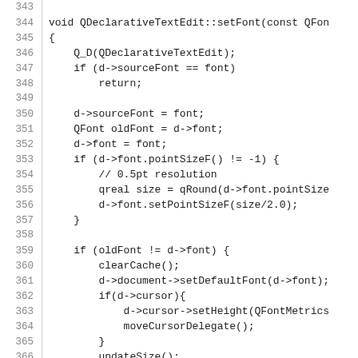[Figure (screenshot): Source code listing showing lines 343-372 of a C++ implementation of QDeclarativeTextEdit::setFont method, with line numbers on the left separated by a vertical rule, monospace font code on the right.]